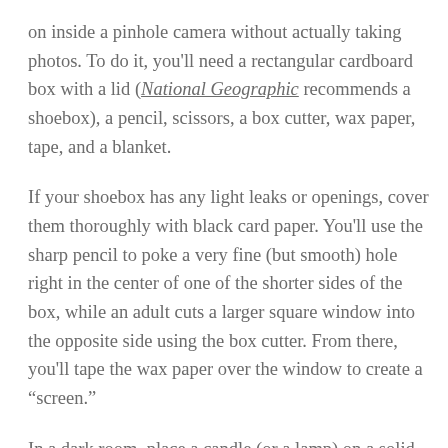on inside a pinhole camera without actually taking photos. To do it, you'll need a rectangular cardboard box with a lid (National Geographic recommends a shoebox), a pencil, scissors, a box cutter, wax paper, tape, and a blanket.
If your shoebox has any light leaks or openings, cover them thoroughly with black card paper. You'll use the sharp pencil to poke a very fine (but smooth) hole right in the center of one of the shorter sides of the box, while an adult cuts a larger square window into the opposite side using the box cutter. From there, you'll tape the wax paper over the window to create a "screen."
In a dark room, place a candle (or a lamp) on a solid